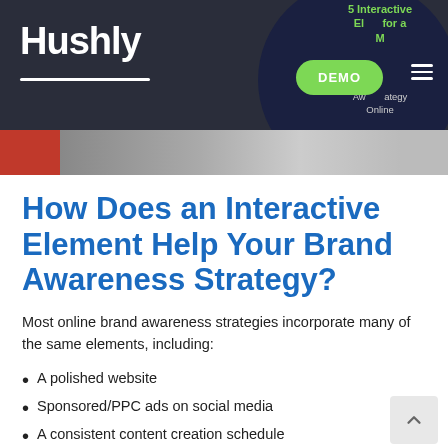[Figure (screenshot): Hushly website header with logo, dark navy background, green DEMO button, hamburger menu, and a circular overlay showing '5 Interactive Elements for a Brand Awareness Strategy Online'. A photo strip with red and neutral tones appears at the bottom of the header.]
How Does an Interactive Element Help Your Brand Awareness Strategy?
Most online brand awareness strategies incorporate many of the same elements, including:
A polished website
Sponsored/PPC ads on social media
A consistent content creation schedule
While each of these elements is vital to a success brand awareness strategy, these tactics can come off